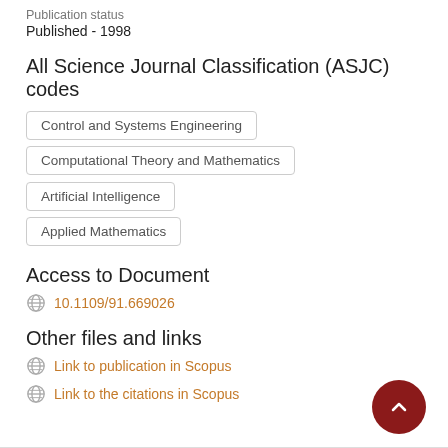Publication status
Published - 1998
All Science Journal Classification (ASJC) codes
Control and Systems Engineering
Computational Theory and Mathematics
Artificial Intelligence
Applied Mathematics
Access to Document
10.1109/91.669026
Other files and links
Link to publication in Scopus
Link to the citations in Scopus